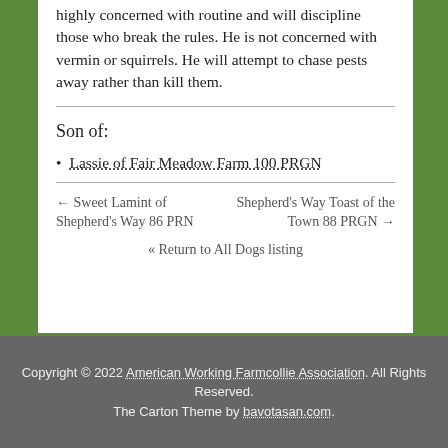highly concerned with routine and will discipline those who break the rules. He is not concerned with vermin or squirrels. He will attempt to chase pests away rather than kill them.
Son of:
Lassie of Fair Meadow Farm 100 PRGN
← Sweet Lamint of Shepherd's Way 86 PRN    Shepherd's Way Toast of the Town 88 PRGN →
« Return to All Dogs listing
Copyright © 2022 American Working Farmcollie Association. All Rights Reserved. The Carton Theme by bavotasan.com.